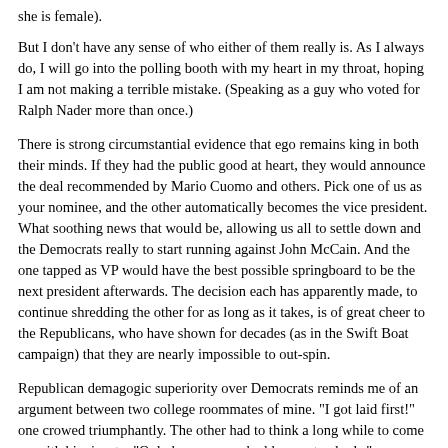she is female).
But I don't have any sense of who either of them really is. As I always do, I will go into the polling booth with my heart in my throat, hoping I am not making a terrible mistake. (Speaking as a guy who voted for Ralph Nader more than once.)
There is strong circumstantial evidence that ego remains king in both their minds. If they had the public good at heart, they would announce the deal recommended by Mario Cuomo and others. Pick one of us as your nominee, and the other automatically becomes the vice president. What soothing news that would be, allowing us all to settle down and the Democrats really to start running against John McCain. And the one tapped as VP would have the best possible springboard to be the next president afterwards. The decision each has apparently made, to continue shredding the other for as long as it takes, is of great cheer to the Republicans, who have shown for decades (as in the Swift Boat campaign) that they are nearly impossible to out-spin.
Republican demagogic superiority over Democrats reminds me of an argument between two college roommates of mine. "I got laid first!" one crowed triumphantly. The other had to think a long while to come up with his riposte: "Only because you had lower standards."